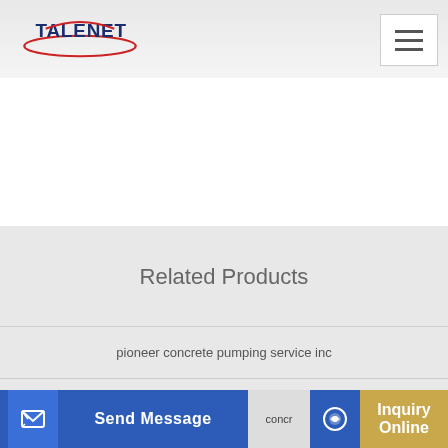[Figure (logo): Talenet company logo with red ellipse accent and dark blue bold text]
Related Products
pioneer concrete pumping service inc
Asphalt Mixing Plant Heavy Equipment CK
concr
Send Message
Inquiry Online